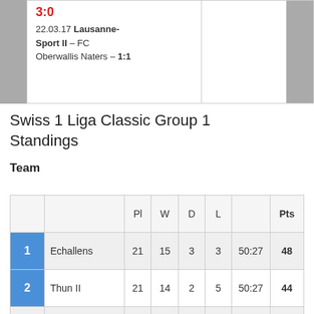3:0
22.03.17 Lausanne-Sport II – FC Oberwallis Naters – 1:1
Swiss 1 Liga Classic Group 1 Standings
Team
|  | Team | Pl | W | D | L |  | Pts |
| --- | --- | --- | --- | --- | --- | --- | --- |
| 1 | Echallens | 21 | 15 | 3 | 3 | 50:27 | 48 |
| 2 | Thun II | 21 | 14 | 2 | 5 | 50:27 | 44 |
| 3 | Bulle | 21 | 13 | 5 | 3 | 58:16 | 44 |